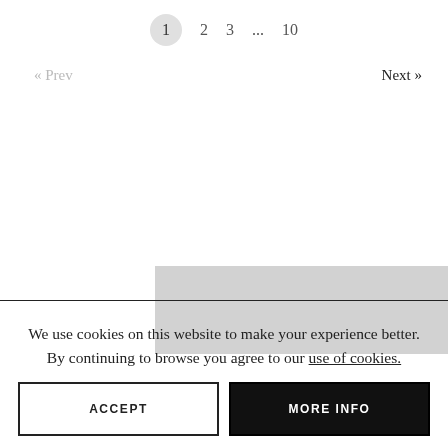1  2  3  ...  10
« Prev
Next »
[Figure (photo): Gray placeholder image partially visible]
We use cookies on this website to make your experience better. By continuing to browse you agree to our use of cookies.
ACCEPT
MORE INFO